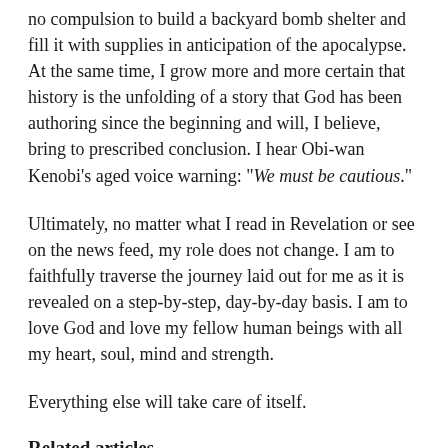no compulsion to build a backyard bomb shelter and fill it with supplies in anticipation of the apocalypse. At the same time, I grow more and more certain that history is the unfolding of a story that God has been authoring since the beginning and will, I believe, bring to prescribed conclusion. I hear Obi-wan Kenobi's aged voice warning: "We must be cautious."
Ultimately, no matter what I read in Revelation or see on the news feed, my role does not change. I am to faithfully traverse the journey laid out for me as it is revealed on a step-by-step, day-by-day basis. I am to love God and love my fellow human beings with all my heart, soul, mind and strength.
Everything else will take care of itself.
Related articles
All In | Time Reveals | Body and Soul | What Really